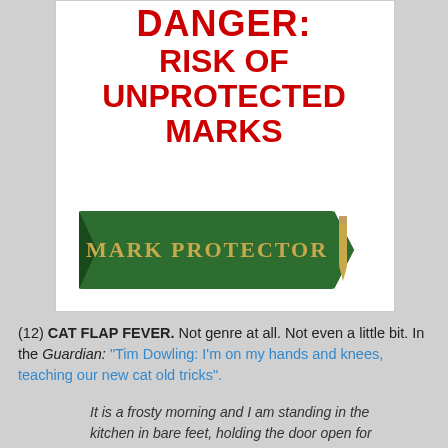DANGER: RISK OF UNPROTECTED MARKS
[Figure (illustration): A green ribbon badge with gold text reading 'MARK PROTECTOR' and a gold pen/pencil icon on the right side]
(12) CAT FLAP FEVER. Not genre at all. Not even a little bit. In the Guardian: "Tim Dowling: I'm on my hands and knees, teaching our new cat old tricks".
It is a frosty morning and I am standing in the kitchen in bare feet, holding the door open for